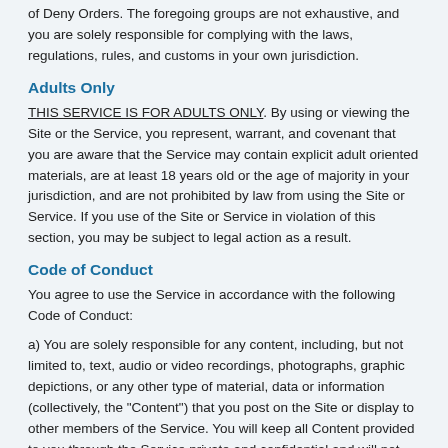of Deny Orders. The foregoing groups are not exhaustive, and you are solely responsible for complying with the laws, regulations, rules, and customs in your own jurisdiction.
Adults Only
THIS SERVICE IS FOR ADULTS ONLY. By using or viewing the Site or the Service, you represent, warrant, and covenant that you are aware that the Service may contain explicit adult oriented materials, are at least 18 years old or the age of majority in your jurisdiction, and are not prohibited by law from using the Site or Service. If you use of the Site or Service in violation of this section, you may be subject to legal action as a result.
Code of Conduct
You agree to use the Service in accordance with the following Code of Conduct:
a) You are solely responsible for any content, including, but not limited to, text, audio or video recordings, photographs, graphic depictions, or any other type of material, data or information (collectively, the "Content") that you post on the Site or display to other members of the Service. You will keep all Content provided to you through the Service private and confidential and will not disclose such Content to anyone without the permission of the person who provided it to you;
b) You are aware that the Service may contain explicit adult oriented materials provided only by consenting users;
c) You will not use the Service to engage in any form of harassment or